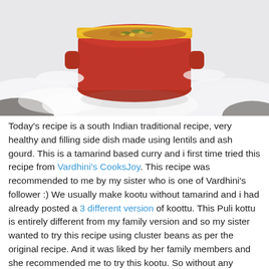[Figure (photo): A red ceramic pot with a yellow rim filled with a lentil and vegetable curry (kootu), placed on a snowy surface outdoors.]
Today's recipe is a south Indian traditional recipe, very healthy and filling side dish made using lentils and ash gourd. This is a tamarind based curry and i first time tried this recipe from Vardhini's CooksJoy. This recipe was recommended to me by my sister who is one of Vardhini's follower :) We usually make kootu without tamarind and i had already posted a 3 different version of koottu. This Puli kottu is entirely different from my family version and so my sister wanted to try this recipe using cluster beans as per the original recipe. And it was liked by her family members and she recommended me to try this kootu. So without any second thought i tried this puli kootu with poosanikkai and it turned out so good. Its even liked by my 4 yr old :) Thanks